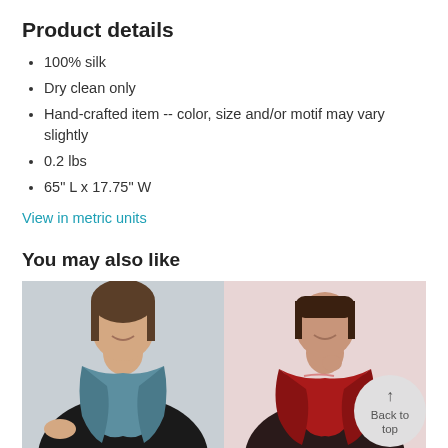Product details
100% silk
Dry clean only
Hand-crafted item -- color, size and/or motif may vary slightly
0.2 lbs
65" L x 17.75" W
View in metric units
You may also like
[Figure (photo): Woman wearing a blue/teal silk scarf with black top]
[Figure (photo): Woman wearing a red silk scarf with dark top, with a 'Back to top' button overlay]